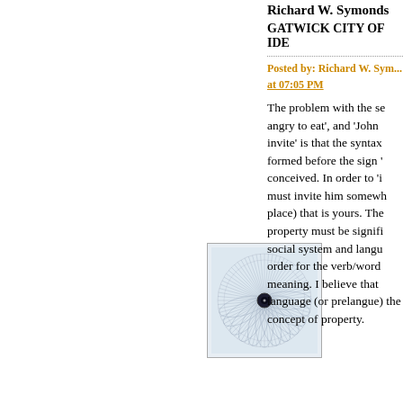Richard W. Symonds
GATWICK CITY OF IDE
Posted by: Richard W. Sym... at 07:05 PM
[Figure (illustration): Avatar image: circular geometric pattern resembling a spirograph or mandala, dark center dot with fine radiating lines forming a flower-like circle, light blue/grey tones, set in a light blue square frame with thin border.]
The problem with the se angry to eat', and 'John invite' is that the syntax formed before the sign ' conceived. In order to 'i must invite him somewh place) that is yours. The property must be signifi social system and langu order for the verb/word meaning. I believe that language (or prelangue) the concept of property.